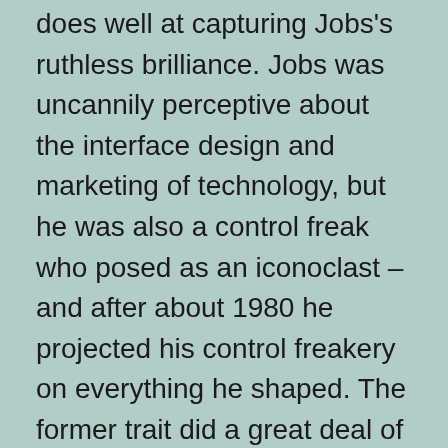does well at capturing Jobs's ruthless brilliance. Jobs was uncannily perceptive about the interface design and marketing of technology, but he was also a control freak who posed as an iconoclast – and after about 1980 he projected his control freakery on everything he shaped. The former trait did a great deal of good; the latter did a degree of harm that, sadly, may prove greater in the end.
It's easy to point at the good Steve Jobs did. While he didn't invent the personal computer, he made it cool, twice. Once in 1976 when the Apple II surpassed all the earlier prototypes,